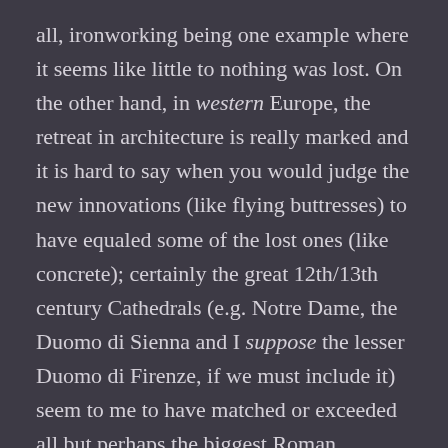all, ironworking being one example where it seems like little to nothing was lost. On the other hand, in western Europe, the retreat in architecture is really marked and it is hard to say when you would judge the new innovations (like flying buttresses) to have equaled some of the lost ones (like concrete); certainly the great 12th/13th century Cathedrals (e.g. Notre Dame, the Duomo di Sienna and I suppose the lesser Duomo di Firenze, if we must include it) seem to me to have matched or exceeded all but perhaps the biggest Roman architectural projects. Though we have to pause here because in many cases the issue was less architectural know-how (though that was a factor) as state capacity: the smaller and more fragmented states of the European Middle Ages didn't have the resources the Roman